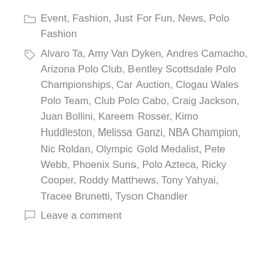Event, Fashion, Just For Fun, News, Polo Fashion
Alvaro Ta, Amy Van Dyken, Andres Camacho, Arizona Polo Club, Bentley Scottsdale Polo Championships, Car Auction, Clogau Wales Polo Team, Club Polo Cabo, Craig Jackson, Juan Bollini, Kareem Rosser, Kimo Huddleston, Melissa Ganzi, NBA Champion, Nic Roldan, Olympic Gold Medalist, Pete Webb, Phoenix Suns, Polo Azteca, Ricky Cooper, Roddy Matthews, Tony Yahyai, Tracee Brunetti, Tyson Chandler
Leave a comment